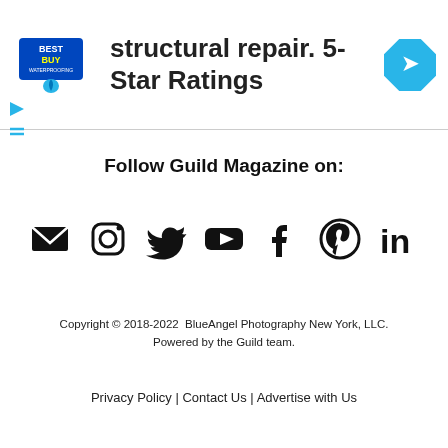[Figure (other): Advertisement banner with Best Buy Waterproofing logo on left, text 'structural repair. 5-Star Ratings' in center, and a blue direction sign icon on the right]
Follow Guild Magazine on:
[Figure (other): Row of social media icons: email/envelope, Instagram, Twitter, YouTube, Facebook, Pinterest, LinkedIn]
Copyright © 2018-2022  BlueAngel Photography New York, LLC.
Powered by the Guild team.
Privacy Policy | Contact Us | Advertise with Us